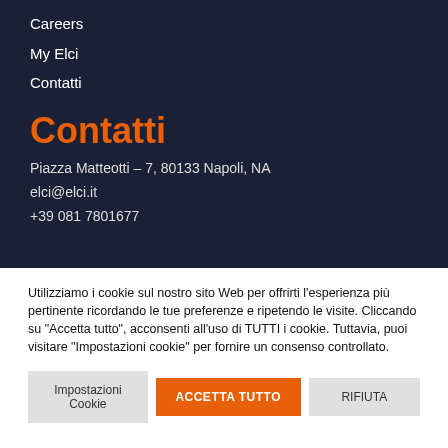Careers
My Elci
Contatti
Contatti
Piazza Matteotti – 7, 80133 Napoli, NA
elci@elci.it
+39 081 7801677
Utilizziamo i cookie sul nostro sito Web per offrirti l'esperienza più pertinente ricordando le tue preferenze e ripetendo le visite. Cliccando su "Accetta tutto", acconsenti all'uso di TUTTI i cookie. Tuttavia, puoi visitare "Impostazioni cookie" per fornire un consenso controllato.
Impostazioni Cookie
ACCETTA TUTTO
RIFIUTA